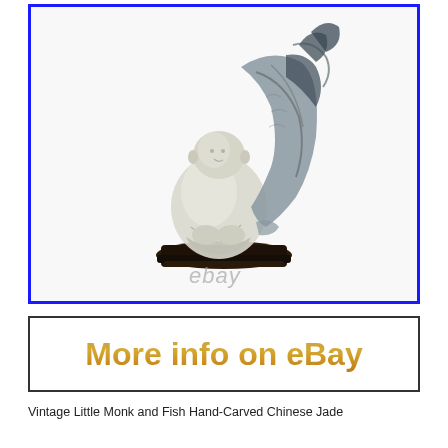[Figure (photo): A vintage Chinese jade figurine of a little monk holding a large fish, mounted on a dark wooden base. The figurine is carved from white and grey-green jade stone. A watermark reading 'ebay' appears at the bottom of the photo. The image is framed with a blue border.]
[Figure (other): A clickable button graphic with a black border on white background reading 'More info on eBay' in large bold golden/orange gradient text.]
Vintage Little Monk and Fish Hand-Carved Chinese Jade